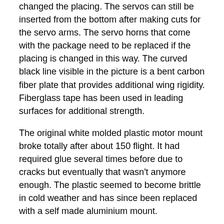changed the placing. The servos can still be inserted from the bottom after making cuts for the servo arms. The servo horns that come with the package need to be replaced if the placing is changed in this way. The curved black line visible in the picture is a bent carbon fiber plate that provides additional wing rigidity. Fiberglass tape has been used in leading surfaces for additional strength.
The original white molded plastic motor mount broke totally after about 150 flight. It had required glue several times before due to cracks but eventually that wasn't anymore enough. The plastic seemed to become brittle in cold weather and has since been replaced with a self made aluminium mount.
Some onboard videos
http://www.youtube.com/watch?v=EjU49Sx-Cd0 (2011)
http://www.youtube.com/watch?v=tgoVZTa9ZD0 (2011)